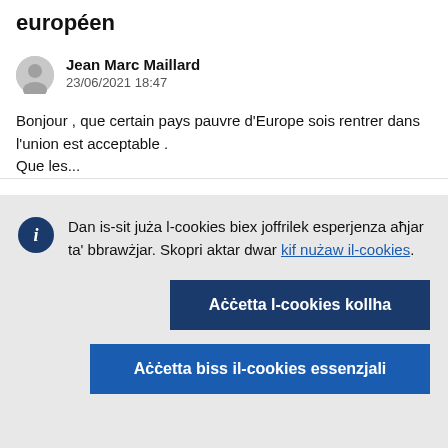européen
Jean Marc Maillard
23/06/2021 18:47
Bonjour , que certain pays pauvre d'Europe sois rentrer dans l'union est acceptable .
Que les...
Dan is-sit juża l-cookies biex joffrilek esperjenza aħjar ta' bbrawżjar. Skopri aktar dwar kif nużaw il-cookies.
Aċċetta l-cookies kollha
Aċċetta biss il-cookies essenzjali